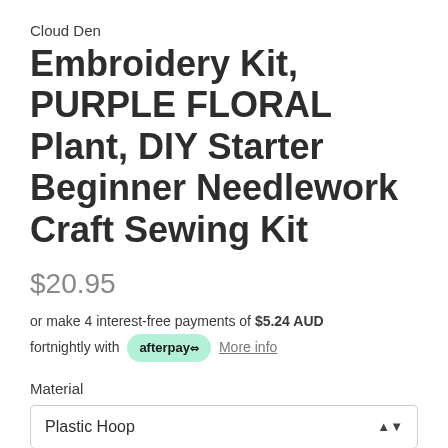Cloud Den
Embroidery Kit, PURPLE FLORAL Plant, DIY Starter Beginner Needlework Craft Sewing Kit
$20.95
or make 4 interest-free payments of $5.24 AUD fortnightly with afterpay More info
Material
Plastic Hoop
Quantity